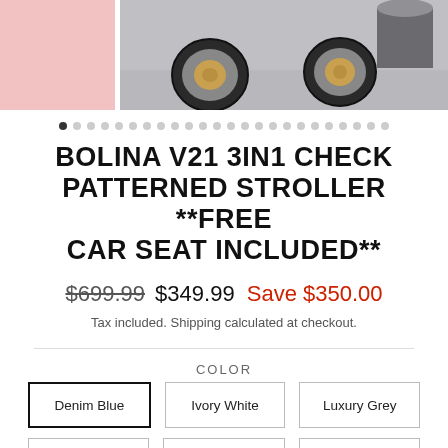[Figure (photo): Product photo showing stroller wheels and a pink block on the left side, gray background on right]
● ○ ○ ○ ○ ○ ○ ○ ○ ○ ○ ○ ○ ○ ○ ○ ○ ○ ○ ○ ○ ○ ○ ○
BOLINA V21 3IN1 CHECK PATTERNED STROLLER **FREE CAR SEAT INCLUDED**
$699.99  $349.99  Save $350.00
Tax included. Shipping calculated at checkout.
COLOR
Denim Blue
Ivory White
Luxury Grey
Pearl White
Nude Brown
Galaxy Grey
Jet Black
Silver Grey
Mocha